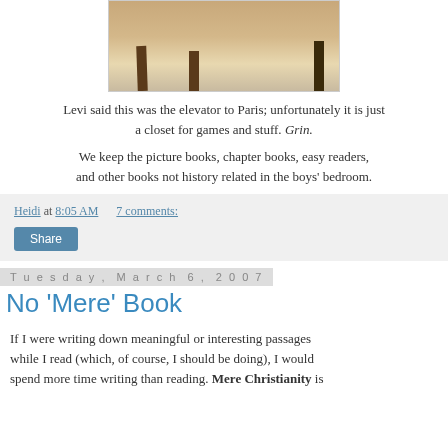[Figure (photo): Partial photo of furniture legs (table/chair legs) on a beige/tan floor, cropped at the top]
Levi said this was the elevator to Paris; unfortunately it is just a closet for games and stuff. Grin.
We keep the picture books, chapter books, easy readers, and other books not history related in the boys' bedroom.
Heidi at 8:05 AM    7 comments:
Share
Tuesday, March 6, 2007
No 'Mere' Book
If I were writing down meaningful or interesting passages while I read (which, of course, I should be doing), I would spend more time writing than reading. Mere Christianity is